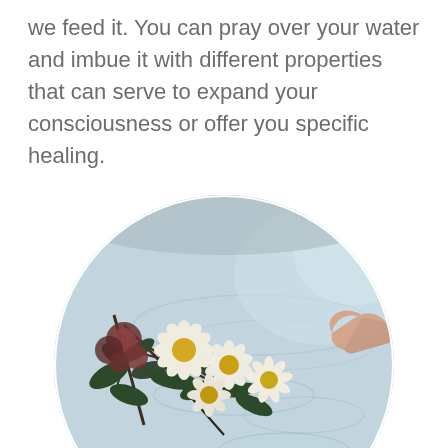we feed it. You can pray over your water and imbue it with different properties that can serve to expand your consciousness or offer you specific healing.
[Figure (photo): A circular cropped photograph of a bathtub filled with light blue water, with white daisies and green leaves floating on the surface. A person's hand reaches in from the right side touching the flowers and water.]